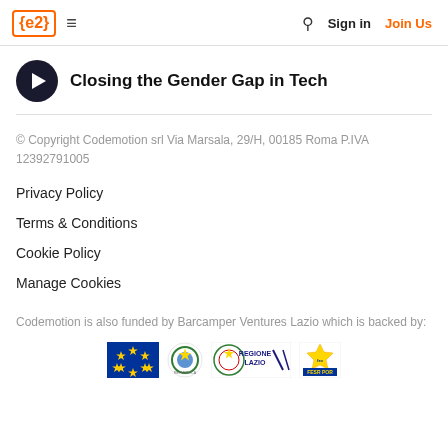{e2} ≡  Sign in  Join Us
Closing the Gender Gap in Tech
© Copyright Codemotion srl Via Marsala, 29/H, 00185 Roma P.IVA 12392791005
Privacy Policy
Terms & Conditions
Cookie Policy
Manage Cookies
Codemotion is also funded by Barcamper Ventures Lazio which is backed by:
[Figure (logo): Row of sponsor logos: EU flag, Italian Republic emblem, Regione Lazio logo, and FESR/POR logo]